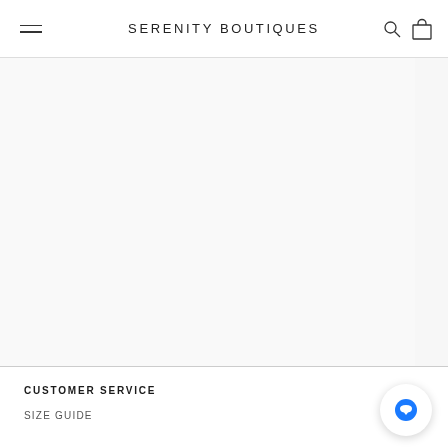SERENITY BOUTIQUES
[Figure (photo): Product image area for Sequin Tie Waist Cutout Mini Dress - blank/white product photo]
SEQUIN TIE WAIST CUTOUT MINI DRESS
$42
RIB-KNI
CUSTOMER SERVICE
SIZE GUIDE